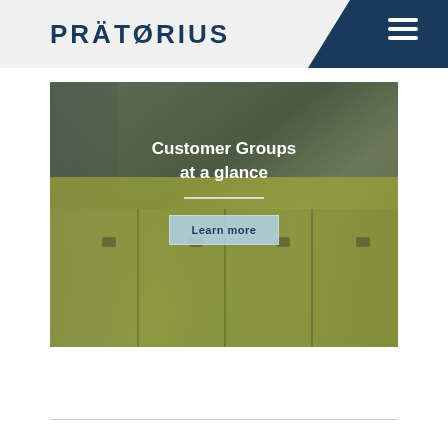PRÄTORIUS
[Figure (photo): Warehouse scene showing a person holding a handheld scanner device on the left side, with stacks of yellow/green branded boxes (Prätorius) in the foreground. Text overlay reads 'Customer Groups at a glance' with a 'Learn more' button below. Industrial warehouse setting with shelving and yellow safety posts visible in background.]